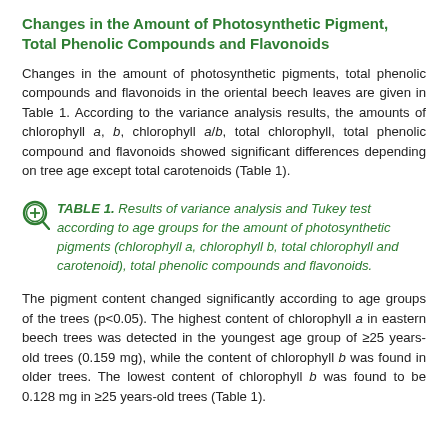Changes in the Amount of Photosynthetic Pigment, Total Phenolic Compounds and Flavonoids
Changes in the amount of photosynthetic pigments, total phenolic compounds and flavonoids in the oriental beech leaves are given in Table 1. According to the variance analysis results, the amounts of chlorophyll a, b, chlorophyll a/b, total chlorophyll, total phenolic compound and flavonoids showed significant differences depending on tree age except total carotenoids (Table 1).
TABLE 1. Results of variance analysis and Tukey test according to age groups for the amount of photosynthetic pigments (chlorophyll a, chlorophyll b, total chlorophyll and carotenoid), total phenolic compounds and flavonoids.
The pigment content changed significantly according to age groups of the trees (p<0.05). The highest content of chlorophyll a in eastern beech trees was detected in the youngest age group of ≥25 years-old trees (0.159 mg), while the content of chlorophyll b was found in older trees. The lowest content of chlorophyll b was found to be 0.128 mg in ≥25 years-old trees (Table 1).